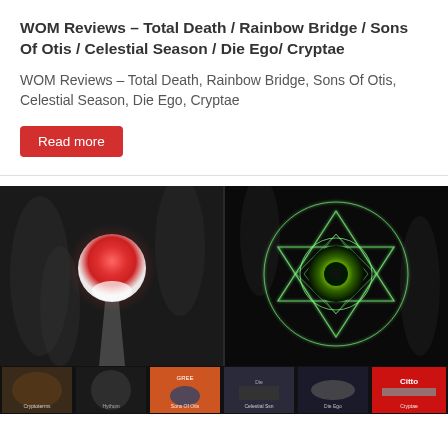WOM Reviews – Total Death / Rainbow Bridge / Sons Of Otis / Celestial Season / Die Ego/ Cryptae
WOM Reviews – Total Death, Rainbow Bridge, Sons Of Otis, Celestial Season, Die Ego, Cryptae
Read more
[Figure (photo): Collage of album artwork: dark atmospheric images featuring a glowing red/pink sphere on dark background (left), a geometric sacred-geometry star pattern with a green eye in center (right), and a row of six smaller album covers along the bottom.]